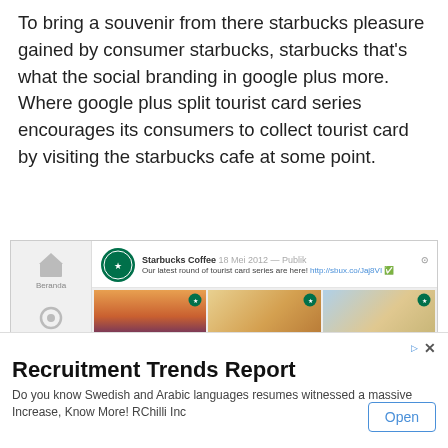To bring a souvenir from there starbucks pleasure gained by consumer starbucks, starbucks that's what the social branding in google plus more. Where google plus split tourist card series encourages its consumers to collect tourist card by visiting the starbucks cafe at some point.
[Figure (screenshot): Screenshot of Starbucks Coffee Google Plus post showing tourist card series with a grid of city-themed gift cards including Texas, Florida, New York City, and Washington DC. The post reads: Our latest round of tourist card series are here! http://sbux.co/Jaj8VI]
Recruitment Trends Report
Do you know Swedish and Arabic languages resumes witnessed a massive Increase, Know More! RChilli Inc